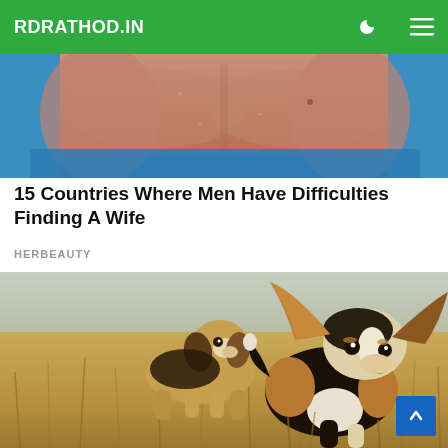RDRATHOD.IN
[Figure (photo): Cropped photo of a shirtless muscular man's torso and chest]
15 Countries Where Men Have Difficulties Finding A Wife
HERBEAUTY
[Figure (photo): Two beagle puppies running through dry golden grass, one in the foreground with ears flopped up]
[Figure (other): Scroll-to-top button (blue square with upward arrow)]